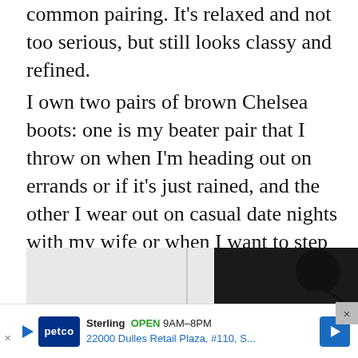common pairing. It's relaxed and not too serious, but still looks classy and refined.
I own two pairs of brown Chelsea boots: one is my beater pair that I throw on when I'm heading out on errands or if it's just rained, and the other I wear out on casual date nights with my wife or when I want to step up my style a little.
[Figure (photo): Partial photo of a person wearing a dark jacket, shot from behind/side against a light background. A close button (×) appears in the bottom-right corner of the image area.]
Sterling OPEN 9AM–8PM 22000 Dulles Retail Plaza, #110, S...